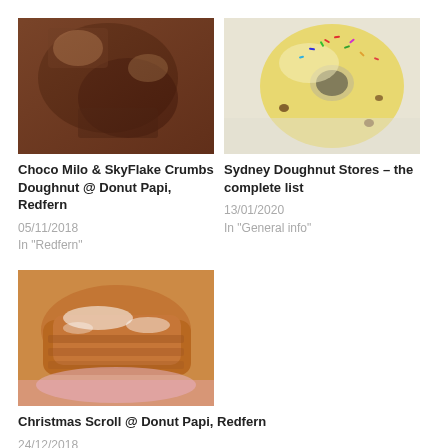[Figure (photo): Close-up photo of a chocolate doughnut with Choco Milo and SkyFlake crumbs topping]
Choco Milo & SkyFlake Crumbs Doughnut @ Donut Papi, Redfern
05/11/2018
In "Redfern"
[Figure (photo): Photo of a yellow-glazed doughnut with colorful sprinkles on top]
Sydney Doughnut Stores – the complete list
13/01/2020
In "General info"
[Figure (photo): Photo of a Christmas scroll doughnut dusted with powdered sugar]
Christmas Scroll @ Donut Papi, Redfern
24/12/2018
In "Filled doughnuts"